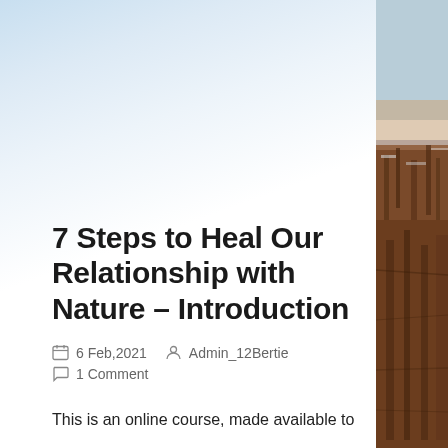[Figure (photo): Nature photo strip on right side showing snowy winter trees and reddish-brown bark, visible on the right edge of the page]
7 Steps to Heal Our Relationship with Nature – Introduction
6 Feb,2021   Admin_12Bertie   1 Comment
This is an online course, made available to